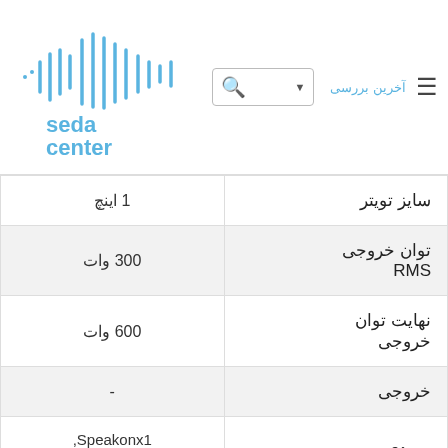[Figure (logo): Seda Center logo with sound wave graphic in blue, text 'seda center' below]
Search bar with dropdown arrow and hamburger menu icon; navigation link in Farsi
| ویژگی | مقدار |
| --- | --- |
| سایز تویتر | 1 اینچ |
| توان خروجی RMS | 300 وات |
| نهایت توان خروجی | 600 وات |
| خروجی | - |
| ورودی | Speakonx1, Phonex1 |
| رنج پاسخ | 65Hz-20kHz |